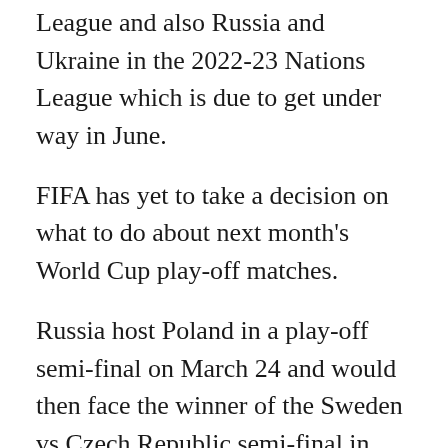League and also Russia and Ukraine in the 2022-23 Nations League which is due to get under way in June.
FIFA has yet to take a decision on what to do about next month's World Cup play-off matches.
Russia host Poland in a play-off semi-final on March 24 and would then face the winner of the Sweden vs Czech Republic semi-final in Russia for a place in Qatar.
The federations of Poland, Sweden and the Czech Republic issued a statement on Thursday insisting matches should not be played on Russian territory and demanding “alternative solutions” be found.